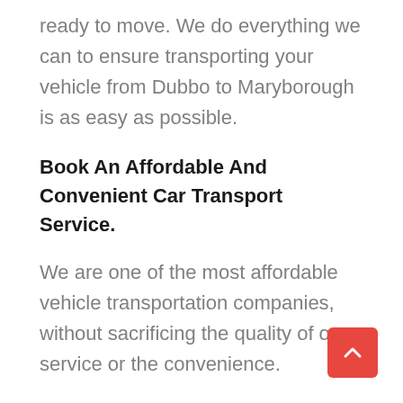ready to move. We do everything we can to ensure transporting your vehicle from Dubbo to Maryborough is as easy as possible.
Book An Affordable And Convenient Car Transport Service.
We are one of the most affordable vehicle transportation companies, without sacrificing the quality of our service or the convenience.
If you need to drop your vehicle off at the dep we can arrange that to happen tomorrow, if you